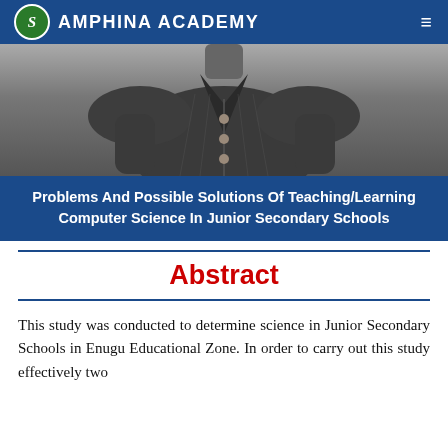SAMPHINA ACADEMY
[Figure (photo): Photo of a person wearing a dark striped blazer/jacket with buttons, cropped to show torso]
Problems And Possible Solutions Of Teaching/Learning Computer Science In Junior Secondary Schools
Abstract
This study was conducted to determine science in Junior Secondary Schools in Enugu Educational Zone. In order to carry out this study effectively two